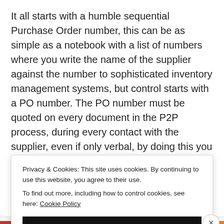It all starts with a humble sequential Purchase Order number, this can be as simple as a notebook with a list of numbers where you write the name of the supplier against the number to sophisticated inventory management systems, but control starts with a PO number. The PO number must be quoted on every document in the P2P process, during every contact with the supplier, even if only verbal, by doing this you will reduce the potential for error. At a minimum your tracking systems should record: the date the order was
Privacy & Cookies: This site uses cookies. By continuing to use this website, you agree to their use.
To find out more, including how to control cookies, see here: Cookie Policy
Close and accept